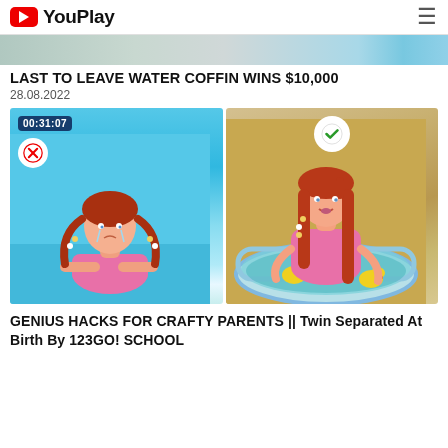YouPlay
[Figure (screenshot): Banner image strip showing partial thumbnail of water/beach scene]
LAST TO LEAVE WATER COFFIN WINS $10,000
28.08.2022
[Figure (photo): Two side-by-side video thumbnails: left shows a red-haired girl crying in the ocean with a timer badge reading 00:31:07 and a red X circle; right shows a red-haired girl smiling in an inflatable pool with rubber ducks and a green checkmark circle]
GENIUS HACKS FOR CRAFTY PARENTS || Twin Separated At Birth By 123GO! SCHOOL